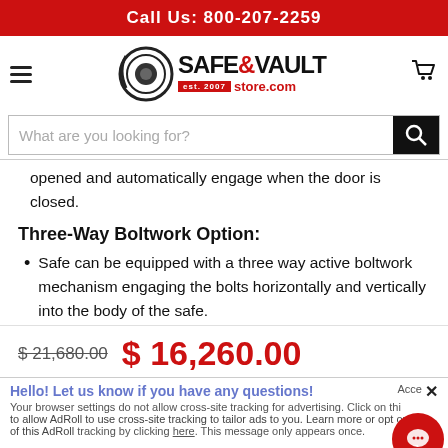Call Us: 800-207-2259
[Figure (logo): Safe & Vault Store.com logo with circular safe icon, est. 2007]
What are you looking for?
opened and automatically engage when the door is closed.
Three-Way Boltwork Option:
Safe can be equipped with a three way active boltwork mechanism engaging the bolts horizontally and vertically into the body of the safe.
$ 21,680.00  $ 16,260.00
Hello! Let us know if you have any questions!
Your browser settings do not allow cross-site tracking for advertising. Click on this to allow AdRoll to use cross-site tracking to tailor ads to you. Learn more or opt out of this AdRoll tracking by clicking here. This message only appears once.